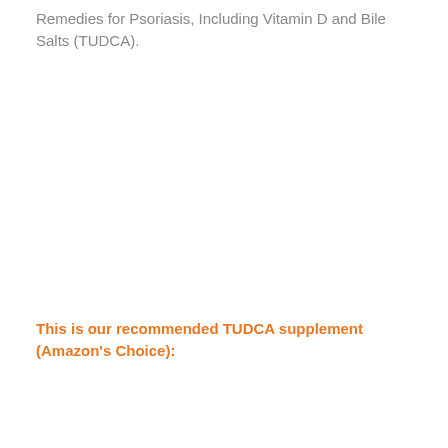Remedies for Psoriasis, Including Vitamin D and Bile Salts (TUDCA).
This is our recommended TUDCA supplement (Amazon's Choice):